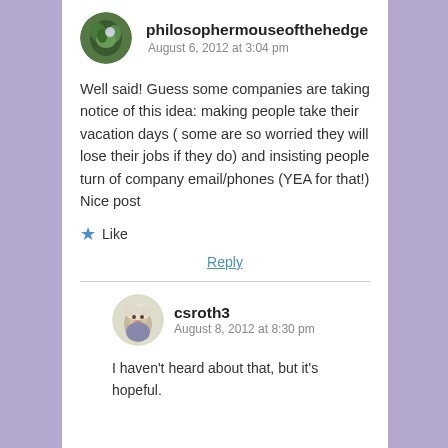[Figure (illustration): Circular avatar of philosophermouseofthehedge showing green leaves]
philosophermouseofthehedge
August 6, 2012 at 3:04 pm
Well said! Guess some companies are taking notice of this idea: making people take their vacation days ( some are so worried they will lose their jobs if they do) and insisting people turn of company email/phones (YEA for that!)
Nice post
★ Like
Reply
[Figure (illustration): Circular avatar of csroth3 showing a woman with blonde hair]
csroth3
August 8, 2012 at 8:30 pm
I haven't heard about that, but it's hopeful.